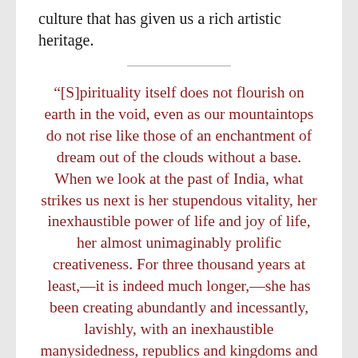culture that has given us a rich artistic heritage.
“[S]pirituality itself does not flourish on earth in the void, even as our mountaintops do not rise like those of an enchantment of dream out of the clouds without a base. When we look at the past of India, what strikes us next is her stupendous vitality, her inexhaustible power of life and joy of life, her almost unimaginably prolific creativeness. For three thousand years at least,—it is indeed much longer,—she has been creating abundantly and incessantly, lavishly, with an inexhaustible manysidedness, republics and kingdoms and empires, philosophies and cosmogonies and sciences and creeds and arts and poems and all kinds